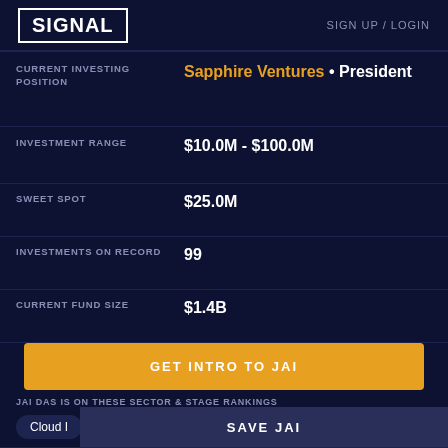SIGNAL   SIGN UP / LOGIN
CURRENT INVESTING POSITION: Sapphire Ventures • President
INVESTMENT RANGE: $10.0M - $100.0M
SWEET SPOT: $25.0M
INVESTMENTS ON RECORD: 99
CURRENT FUND SIZE: $1.4B
GET INTRO TO JAI
JAI DAS IS ON THESE SECTOR & STAGE RANKINGS
Cloud I...
SAVE JAI
SaaS (S...
ADD TO MY PREFERRED LIST
JAI DAS'S...
UPVOTE JAI
COMPANY   STAGE • DATE • ROUND SIZE   TOTAL RAISED